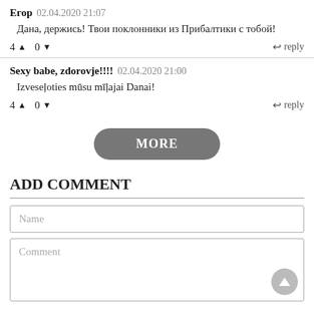Егор 02.04.2020 21:07 — Дана, держись! Твои поклонники из Прибалтики с тобой! — 4▲ 0▼ reply
Sexy babe, zdorovje!!!! 02.04.2020 21:00 — Izveseļoties mūsu mīļajai Danai! — 4▲ 0▼ reply
MORE
ADD COMMENT
Name
Comment